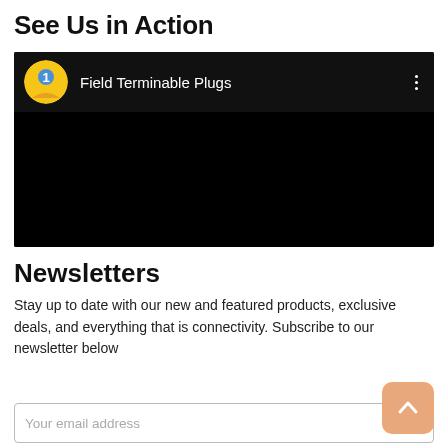See Us in Action
[Figure (screenshot): Embedded video player with black background showing a YouTube-style video thumbnail. Channel logo (yellow and blue globe figure) and title 'Field Terminable Plugs' visible in the header bar.]
Newsletters
Stay up to date with our new and featured products, exclusive deals, and everything that is connectivity. Subscribe to our newsletter below
Your email address